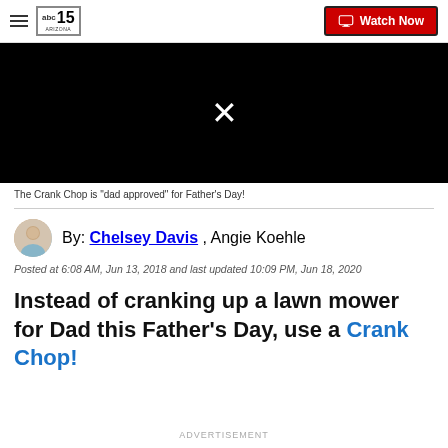abc15 Arizona | Watch Now
[Figure (screenshot): Black video player with white X close button in center]
The Crank Chop is "dad approved" for Father's Day!
By: Chelsey Davis , Angie Koehle
Posted at 6:08 AM, Jun 13, 2018 and last updated 10:09 PM, Jun 18, 2020
Instead of cranking up a lawn mower for Dad this Father's Day, use a Crank Chop!
ADVERTISEMENT